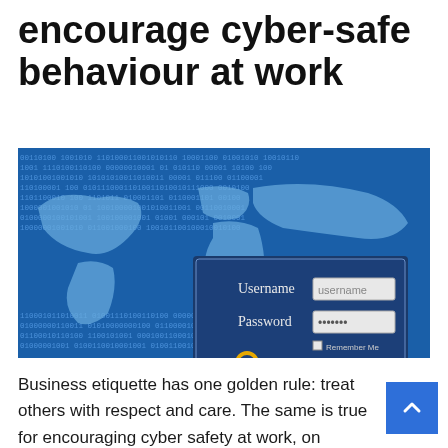encourage cyber-safe behaviour at work
[Figure (photo): A login screen with Username and Password fields, a padlock icon, Login and Register buttons, overlaid on a blue world map background with binary code digits]
Business etiquette has one golden rule: treat others with respect and care. The same is true for encouraging cyber safety at work, on everything password security to keeping valuable information